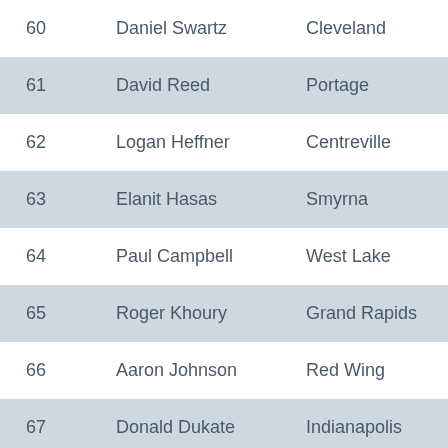| # | Name | City | State |
| --- | --- | --- | --- |
| 60 | Daniel Swartz | Cleveland | OH |
| 61 | David Reed | Portage | MI |
| 62 | Logan Heffner | Centreville | MI |
| 63 | Elanit Hasas | Smyrna | GA |
| 64 | Paul Campbell | West Lake | OH |
| 65 | Roger Khoury | Grand Rapids | MI |
| 66 | Aaron Johnson | Red Wing | MN |
| 67 | Donald Dukate | Indianapolis | IN |